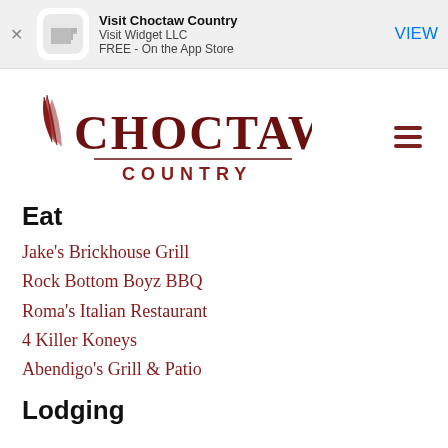[Figure (screenshot): App store banner showing 'Visit Choctaw Country' app by Visit Widget LLC, FREE on the App Store, with a VIEW button]
[Figure (logo): Choctaw Country logo with feathers and dark red text]
Eat
Jake's Brickhouse Grill
Rock Bottom Boyz BBQ
Roma's Italian Restaurant
4 Killer Koneys
Abendigo's Grill & Patio
Lodging